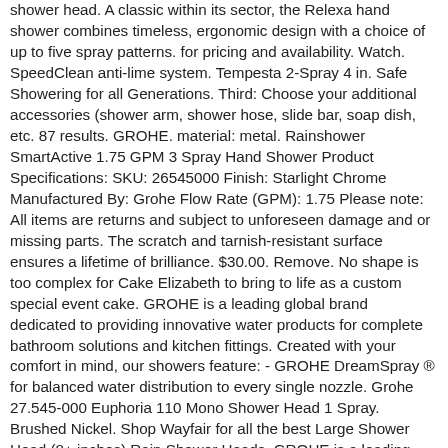shower head. A classic within its sector, the Relexa hand shower combines timeless, ergonomic design with a choice of up to five spray patterns. for pricing and availability. Watch. SpeedClean anti-lime system. Tempesta 2-Spray 4 in. Safe Showering for all Generations. Third: Choose your additional accessories (shower arm, shower hose, slide bar, soap dish, etc. 87 results. GROHE. material: metal. Rainshower SmartActive 1.75 GPM 3 Spray Hand Shower Product Specifications: SKU: 26545000 Finish: Starlight Chrome Manufactured By: Grohe Flow Rate (GPM): 1.75 Please note: All items are returns and subject to unforeseen damage and or missing parts. The scratch and tarnish-resistant surface ensures a lifetime of brilliance. $30.00. Remove. No shape is too complex for Cake Elizabeth to bring to life as a custom special event cake. GROHE is a leading global brand dedicated to providing innovative water products for complete bathroom solutions and kitchen fittings. Created with your comfort in mind, our showers feature: - GROHE DreamSpray ® for balanced water distribution to every single nozzle. Grohe 27.545-000 Euphoria 110 Mono Shower Head 1 Spray. Brushed Nickel. Shop Wayfair for all the best Large Shower Head (8+ inches) Rain Shower Heads. GROHE is a leading global brand dedicated to providing innovative water products for complete bathroom solutions and kitchen fittings. Intelligently engineered to reduce water consumption, GROHE DreamSpray® distributes the water evenly to every nozzle for an unparalleled showering experience. $20.00 shipping. $24.99. Dual Shower Head and Handheld Shower Head in Chrome. GROHE